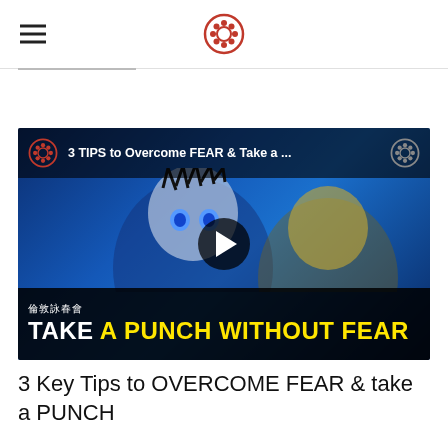[hamburger menu] [logo icon]
[Figure (screenshot): Video thumbnail showing anime character (One Piece's Luffy) with text overlay '3 TIPS to Overcome FEAR & Take a ...' at the top, a play button in the center, Chinese characters and 'TAKE A PUNCH WITHOUT FEAR' text at the bottom]
3 Key Tips to OVERCOME FEAR & take a PUNCH